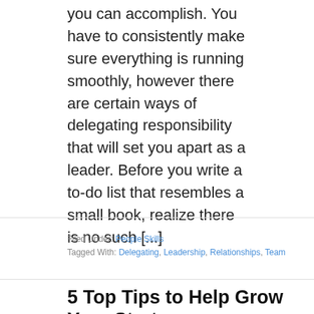you can accomplish. You have to consistently make sure everything is running smoothly, however there are certain ways of delegating responsibility that will set you apart as a leader. Before you write a to-do list that resembles a small book, realize there is no such [...]
Filed Under: People Skills
Tagged With: Delegating, Leadership, Relationships, Team
5 Top Tips to Help Grow Your Startup
Oct 15, 2015 By SmallBizClub
[Figure (photo): Photo of small green plant seedlings growing in a terracotta pot tray, symbolizing startup growth]